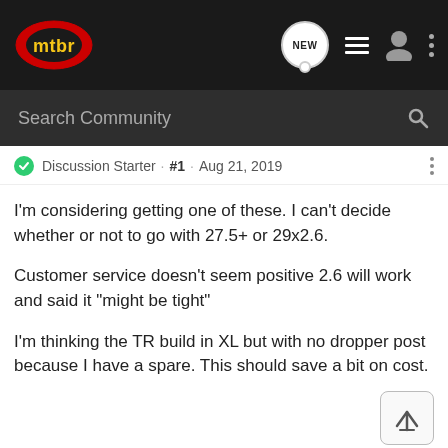mtbr — NEW, list, user, menu icons
Search Community
Discussion Starter · #1 · Aug 21, 2019
I'm considering getting one of these. I can't decide whether or not to go with 27.5+ or 29x2.6.

Customer service doesn't seem positive 2.6 will work and said it "might be tight"

I'm thinking the TR build in XL but with no dropper post because I have a spare. This should save a bit on cost.
vikb · Registered 🇨🇦
Joined Sep 7, 2008 · 14,942 Posts